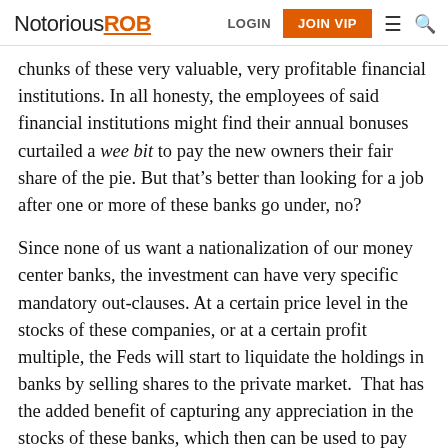NotoriousROB | LOGIN | JOIN VIP
chunks of these very valuable, very profitable financial institutions. In all honesty, the employees of said financial institutions might find their annual bonuses curtailed a wee bit to pay the new owners their fair share of the pie. But that’s better than looking for a job after one or more of these banks go under, no?
Since none of us want a nationalization of our money center banks, the investment can have very specific mandatory out-clauses. At a certain price level in the stocks of these companies, or at a certain profit multiple, the Feds will start to liquidate the holdings in banks by selling shares to the private market. That has the added benefit of capturing any appreciation in the stocks of these banks, which then can be used to pay down the government’s debt (probably incurred in the course of trying to bail out these banks in the first place).